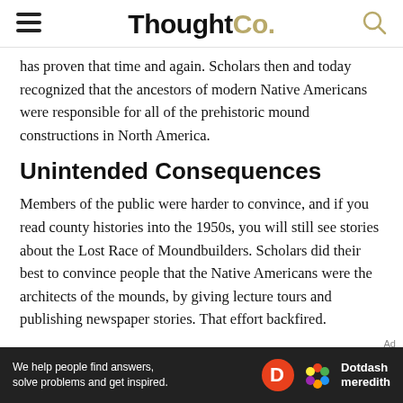ThoughtCo.
has proven that time and again. Scholars then and today recognized that the ancestors of modern Native Americans were responsible for all of the prehistoric mound constructions in North America.
Unintended Consequences
Members of the public were harder to convince, and if you read county histories into the 1950s, you will still see stories about the Lost Race of Moundbuilders. Scholars did their best to convince people that the Native Americans were the architects of the mounds, by giving lecture tours and publishing newspaper stories. That effort backfired.
[Figure (other): Dotdash Meredith advertisement banner: 'We help people find answers, solve problems and get inspired.' with Dotdash Meredith logo]